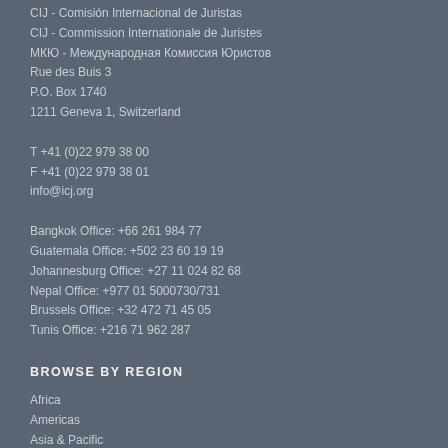CIJ - Comisión Internacional de Juristas
CIJ - Commission Internationale de Juristes
МКЮ - Международная Комиссия Юристов
Rue des Buis 3
P.O. Box 1740
1211 Geneva 1, Switzerland
T +41 (0)22 979 38 00
F +41 (0)22 979 38 01
info@icj.org
Bangkok Office: +66 261 984 77
Guatemala Office: +502 23 60 19 19
Johannesburg Office: +27 11 024 82 68
Nepal Office: +977 01 5000730/731
Brussels Office: +32 472 71 45 05
Tunis Office: +216 71 962 287
BROWSE BY REGION
Africa
Americas
Asia & Pacific